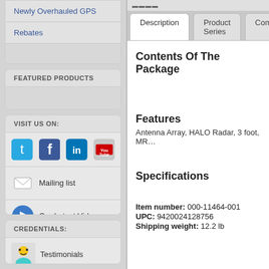Newly Overhauled GPS
Rebates
FEATURED PRODUCTS
VISIT US ON:
[Figure (logo): Twitter, Facebook, LinkedIn, YouTube social media icons]
Mailing list
Our Latest Videos
CREDENTIALS:
Testimonials
Description | Product Series | Com...
Contents Of The Package
Features
Antenna Array, HALO Radar, 3 foot, MR...
Specifications
Item number: 000-11464-001
UPC: 9420024128756
Shipping weight: 12.2 lb